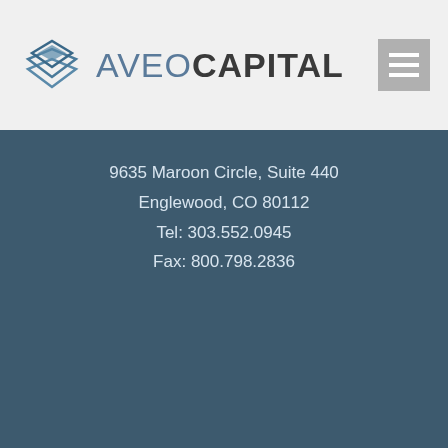AVEO CAPITAL
9635 Maroon Circle, Suite 440
Englewood, CO 80112
Tel: 303.552.0945
Fax: 800.798.2836
Copyright © 2022 Aveo Capital Partners, LLC. | Disclosures | Form CRS
Advisory Services offered through Aveo Capital Partners, LLC, a Registered Investment Advisor. Securities may be offered through DMK Advisor Group, Inc. Member FINRA, SIPC, MSRB. Additional information about Aveo Capital Partners, LLC and our advisors is also available on FINRA's BrokerCheck.